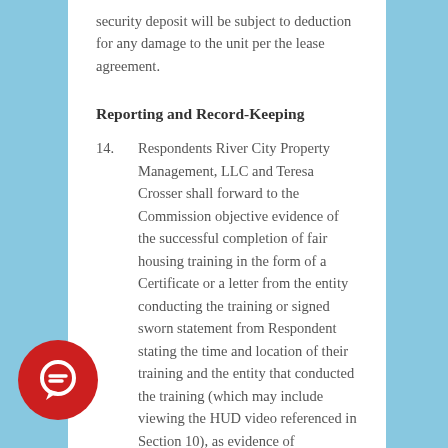security deposit will be subject to deduction for any damage to the unit per the lease agreement.
Reporting and Record-Keeping
14. Respondents River City Property Management, LLC and Teresa Crosser shall forward to the Commission objective evidence of the successful completion of fair housing training in the form of a Certificate or a letter from the entity conducting the training or signed sworn statement from Respondent stating the time and location of their training and the entity that conducted the training (which may include viewing the HUD video referenced in Section 10), as evidence of compliance with Term 10 of this Agreement within ten (10) days of the